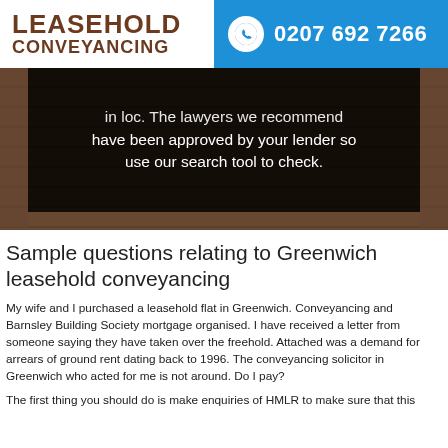[Figure (logo): Leasehold Conveyancing logo with brown text on white background]
0207 692 7266
[Figure (photo): Hero image of brick building with dark overlay box containing text: 'in loc. The lawyers we recommend have been approved by your lender so use our search tool to check.']
Sample questions relating to Greenwich leasehold conveyancing
My wife and I purchased a leasehold flat in Greenwich. Conveyancing and Barnsley Building Society mortgage organised. I have received a letter from someone saying they have taken over the freehold. Attached was a demand for arrears of ground rent dating back to 1996. The conveyancing solicitor in Greenwich who acted for me is not around. Do I pay?
The first thing you should do is make enquiries of HMLR to make sure that this